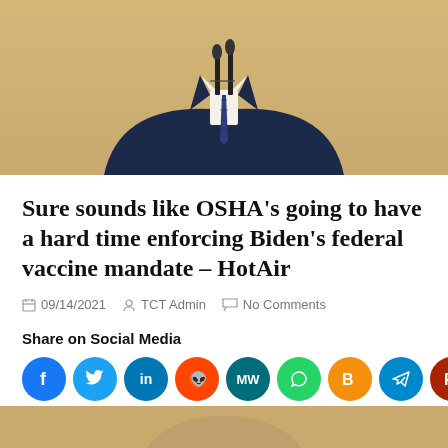[Figure (photo): Man in dark navy suit at microphone podium, partial view from shoulders/chest up, yellow/golden curtain background]
Sure sounds like OSHA’s going to have a hard time enforcing Biden’s federal vaccine mandate – HotAir
09/14/2021   TCT Admin   No Comments
Share on Social Media
[Figure (infographic): Social media sharing icons: Facebook, Twitter, LinkedIn, Reddit, MeWe, WhatsApp, Blogger, Telegram, Parler, Tumblr, Tweet button, Share button, Dark mode toggle button]
[Figure (photo): Partial photo of person at bottom of page]